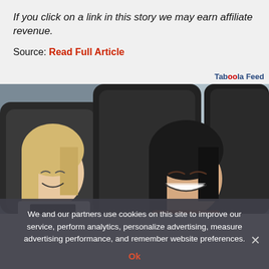If you click on a link in this story we may earn affiliate revenue.
Source: Read Full Article
Taboola Feed
[Figure (photo): Two women laughing while seated in what appear to be train or airplane seats with dark headrests. The woman on the left has blonde hair and is wearing a white blazer; the woman on the right has dark hair.]
We and our partners use cookies on this site to improve our service, perform analytics, personalize advertising, measure advertising performance, and remember website preferences.
Ok